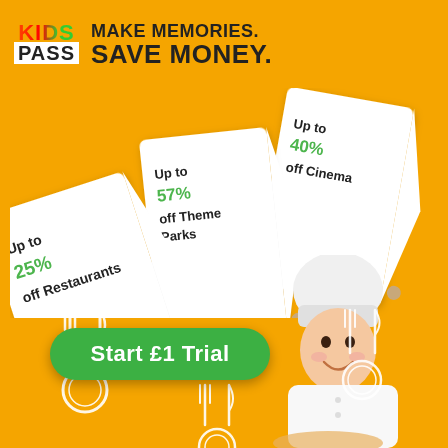[Figure (logo): Kids Pass logo with colorful KIDS text and white PASS block on orange background]
MAKE MEMORIES. SAVE MONEY.
[Figure (infographic): Three white price tag shapes fanned out showing discount offers: Up to 25% off Restaurants, Up to 57% off Theme Parks, Up to 40% off Cinema]
[Figure (photo): Child dressed as chef in white hat and whites, smiling, holding pizza, with white fork and plate icons on orange background]
Start £1 Trial